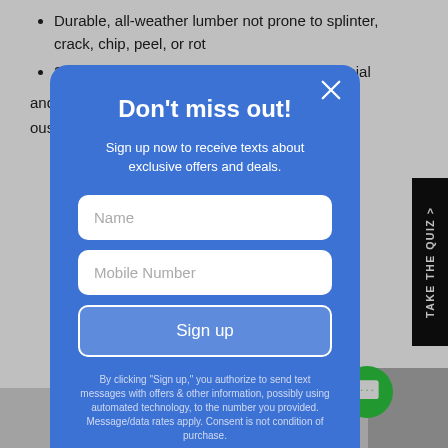Durable, all-weather lumber not prone to splinter, crack, chip, peel, or rot
20-year residential warranty; 3-year commercial
and a soft-bristle
ously throughout painting or
[Figure (screenshot): Modal popup dialog with blue background. Title: Don't miss out! Subtitle: Sign up now to receive texts about exclusive offers and deals. Input fields: Name, Mobile Number. Button: Sign up. Footnote disclaimer text about text message authorization.]
TAKE THE QUIZ >